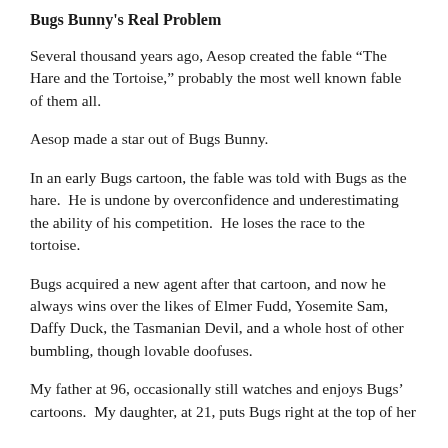Bugs Bunny's Real Problem
Several thousand years ago, Aesop created the fable “The Hare and the Tortoise,” probably the most well known fable of them all.
Aesop made a star out of Bugs Bunny.
In an early Bugs cartoon, the fable was told with Bugs as the hare.  He is undone by overconfidence and underestimating the ability of his competition.  He loses the race to the tortoise.
Bugs acquired a new agent after that cartoon, and now he always wins over the likes of Elmer Fudd, Yosemite Sam, Daffy Duck, the Tasmanian Devil, and a whole host of other bumbling, though lovable doofuses.
My father at 96, occasionally still watches and enjoys Bugs’ cartoons.  My daughter, at 21, puts Bugs right at the top of her